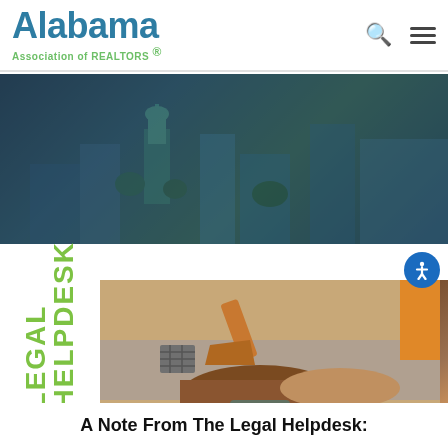[Figure (logo): Alabama Association of REALTORS logo with teal/blue Alabama text and green subtitle]
[Figure (photo): Hero banner with Alabama state capitol building cityscape, overlaid with blue-grey tint]
[Figure (photo): Legal Helpdesk image showing excavator digging into road/pavement with dirt and exposed pipes, alongside vertical green LEGAL HELPDESK text and scales of justice icon]
A Note From The Legal Helpdesk: